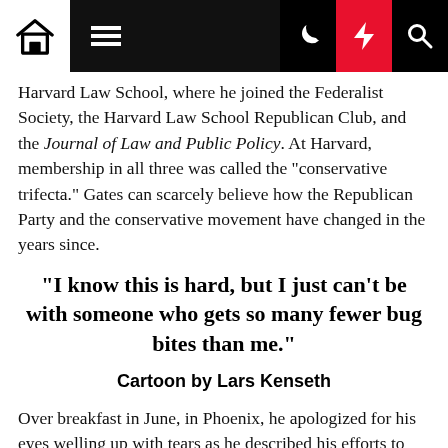[Navigation bar with home, menu, moon, bolt, and search icons]
Harvard Law School, where he joined the Federalist Society, the Harvard Law School Republican Club, and the Journal of Law and Public Policy. At Harvard, membership in all three was called the "conservative trifecta." Gates can scarcely believe how the Republican Party and the conservative movement have changed in the years since.
“I know this is hard, but I just can’t be with someone who gets so many fewer bug bites than me.”
Cartoon by Lars Kenseth
Over breakfast in June, in Phoenix, he apologized for his eyes welling up with tears as he described his efforts to stand up to his own party’s mob. He said that he and the other county supervisors had been